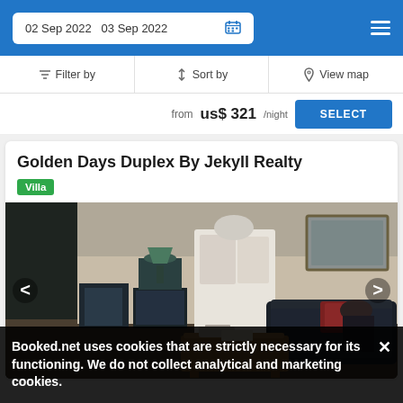02 Sep 2022  03 Sep 2022
Filter by  Sort by  View map
from us$ 321/night  SELECT
Golden Days Duplex By Jekyll Realty
Villa
[Figure (photo): Interior photo of a living room with leather couch, coffee table, chairs, lamps, and artwork on the wall]
Booked.net uses cookies that are strictly necessary for its functioning. We do not collect analytical and marketing cookies.